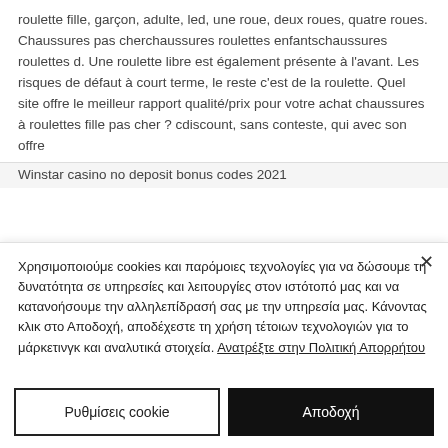roulette fille, garçon, adulte, led, une roue, deux roues, quatre roues. Chaussures pas cherchaussures roulettes enfantschaussures roulettes d. Une roulette libre est également présente à l'avant. Les risques de défaut à court terme, le reste c'est de la roulette. Quel site offre le meilleur rapport qualité/prix pour votre achat chaussures à roulettes fille pas cher ? cdiscount, sans conteste, qui avec son offre
Winstar casino no deposit bonus codes 2021
Χρησιμοποιούμε cookies και παρόμοιες τεχνολογίες για να δώσουμε τη δυνατότητα σε υπηρεσίες και λειτουργίες στον ιστότοπό μας και να κατανοήσουμε την αλληλεπίδρασή σας με την υπηρεσία μας. Κάνοντας κλικ στο Αποδοχή, αποδέχεστε τη χρήση τέτοιων τεχνολογιών για το μάρκετινγκ και αναλυτικά στοιχεία. Ανατρέξτε στην Πολιτική Απορρήτου
Ρυθμίσεις cookie
Αποδοχή